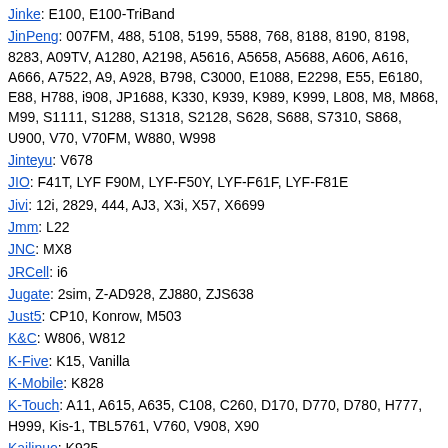Jinke: E100, E100-TriBand
JinPeng: 007FM, 488, 5108, 5199, 5588, 768, 8188, 8190, 8198, 8283, A09TV, A1280, A2198, A5616, A5658, A5688, A606, A616, A666, A7522, A9, A928, B798, C3000, E1088, E2298, E55, E6180, E88, H788, i908, JP1688, K330, K939, K989, K999, L808, M8, M868, M99, S1111, S1288, S1318, S2128, S628, S688, S7310, S868, U900, V70, V70FM, W880, W998
Jinteyu: V678
JIO: F41T, LYF F90M, LYF-F50Y, LYF-F61F, LYF-F81E
Jivi: 12i, 2829, 444, AJ3, X3i, X57, X6699
Jmm: L22
JNC: MX8
JRCell: i6
Jugate: 2sim, Z-AD928, ZJ880, ZJS638
Just5: CP10, Konrow, M503
K&C: W806, W812
K-Five: K15, Vanilla
K-Mobile: K828
K-Touch: A11, A615, A635, C108, C260, D170, D770, D780, H777, H999, Kis-1, TBL5761, V760, V908, X90
Kailinuo: K925
Kaiqi: N107, TV32
Kalley:
| Model | File |
| --- | --- |
| Silver Max Pro | CM2MT2\CM2MT2.exe MT6765 |
| TCF200 | Pana01\Pana01.exe |
Karamfone: S4, X5
Karbonn: A065, A1 Plus Super, A1+, A101, A108+, A109, A119, A11Star, A12+, A12Star, A14, A14+, A19, A19+, A1Star, A2, A2+, A20, A202, A240, A25, A25+, A26, A29, A4, A40, A40+, A50s, A51+, A52, A52+, A5s, A6, A6 Turbo 3G, A6-Turbo 3G, A6MT, A7Star, A8+, A80, A81, A8Star, A9 Indian, A90s, A92, A92+, A92Star, A95, A99i, A9s, Aura, Aura Power 4G, K-Phone 1, K-Phone 2, K-Phone 5, K10, K101, K101Star, K102, K102+, K102Star, K103, K104Star, K105s, K110i, K111, K112, K113, K118, K121, K14, K18, K20Star